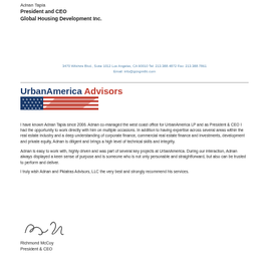Adnan Tapia
President and CEO
Global Housing Development Inc.
3470 Wilshire Blvd., Suite 1012 Los Angeles, CA 90010 Tel: 213.388.4872 Fax: 213.388.7861
Email: info@gcngmtllc.com
[Figure (logo): UrbanAmerica Advisors logo with American flag graphic below]
I have known Adnan Tapia since 2006. Adnan co-managed the west coast office for UrbanAmerica LP and as President & CEO I had the opportunity to work directly with him on multiple occasions. In addition to having expertise across several areas within the real estate industry and a deep understanding of corporate finance, commercial real estate finance and investments, development and private equity, Adnan is diligent and brings a high level of technical skills and integrity.
Adnan is easy to work with, highly driven and was part of several key projects at UrbanAmerica. During our interaction, Adnan always displayed a keen sense of purpose and is someone who is not only personable and straightforward, but also can be trusted to perform and deliver.
I truly wish Adnan and Pkiatras Advisors, LLC the very best and strongly recommend his services.
[Figure (illustration): Handwritten signature of Richmond McCoy]
Richmond McCoy
President & CEO